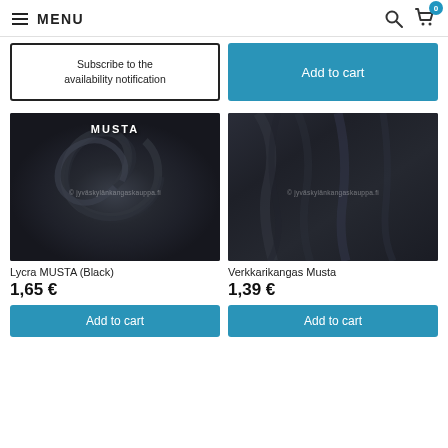MENU
Subscribe to the availability notification
Add to cart
[Figure (photo): Close-up photo of dark navy/black Lycra fabric rolled in a circle, with label MUSTA (Black) text overlay and watermark © jyväskylänkangaskauppa.fi]
Lycra MUSTA (Black)
1,65 €
Add to cart
[Figure (photo): Close-up photo of dark navy/black Verkkarikangas (sweatshirt fabric) with draped texture and watermark © jyväskylänkangaskauppa.fi]
Verkkarikangas Musta
1,39 €
Add to cart